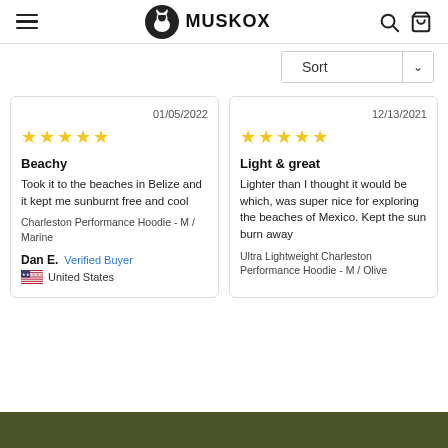MuskOx
Sort
01/05/2022
★★★★★
Beachy
Took it to the beaches in Belize and it kept me sunburnt free and cool
Charleston Performance Hoodie - M / Marine
Dan E. Verified Buyer
United States
12/13/2021
★★★★★
Light & great
Lighter than I thought it would be which, was super nice for exploring the beaches of Mexico. Kept the sun burn away
Ultra Lightweight Charleston Performance Hoodie - M / Olive